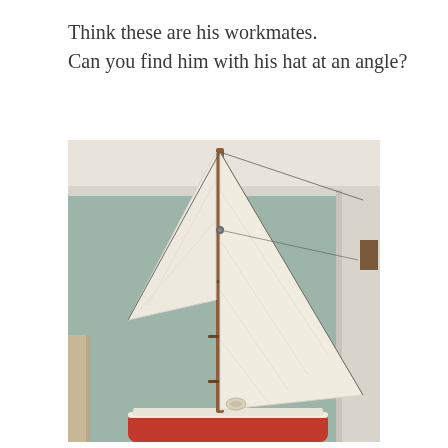Think these are his workmates.
Can you find him with his hat at an angle?
[Figure (photo): Indoor photo of a model sailboat with white sails and a wooden mast, displayed in a room with sage green walls and white crown molding. The boat has a red hull visible at the bottom.]